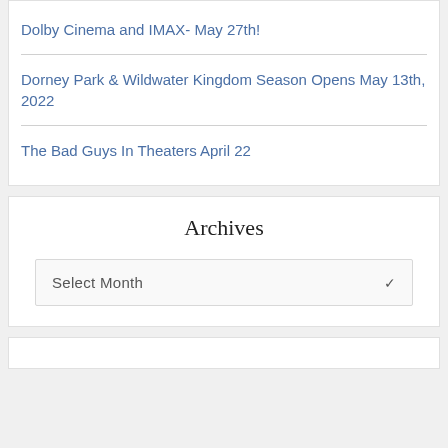Dolby Cinema and IMAX- May 27th!
Dorney Park & Wildwater Kingdom Season Opens May 13th, 2022
The Bad Guys In Theaters April 22
Archives
Select Month